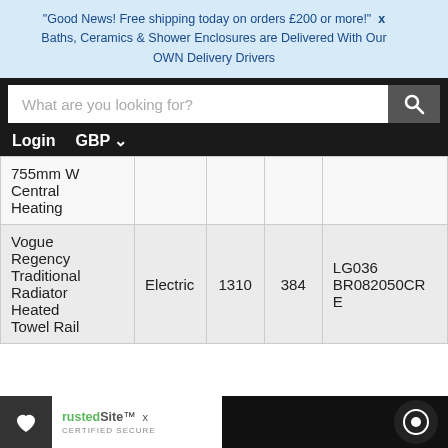"Good News! Free shipping today on orders £200 or more!"  X
Baths, Ceramics & Shower Enclosures are Delivered With Our OWN Delivery Drivers
[Figure (screenshot): Website navigation bar with search input and Login/GBP links on black background]
| 755mm W
Central
Heating |  |  |  |  |
| Vogue
Regency
Traditional
Radiator
Heated
Towel Rail | Electric | 1310 | 384 | LG036
BR082050CRE |
rustedSite  X
CERTIFIED SECURE